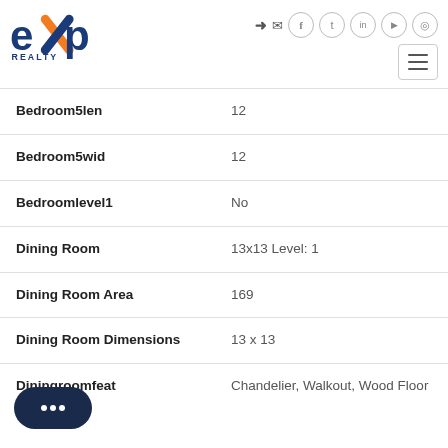eXp Realty header with social icons and navigation
| Field | Value |
| --- | --- |
| Bedroom5len | 12 |
| Bedroom5wid | 12 |
| Bedroomlevel1 | No |
| Dining Room | 13x13 Level: 1 |
| Dining Room Area | 169 |
| Dining Room Dimensions | 13 x 13 |
| Diningroomfeat | Chandelier, Walkout, Wood Floor |